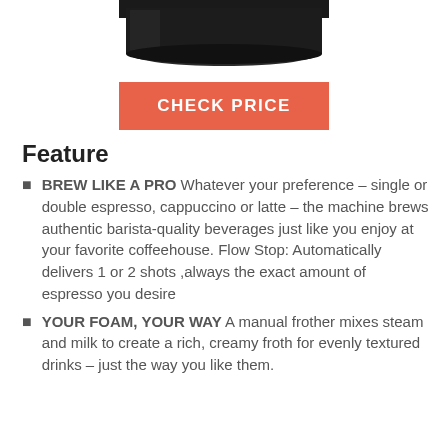[Figure (photo): Bottom portion of a black espresso/coffee machine visible at top of page]
CHECK PRICE
Feature
BREW LIKE A PRO Whatever your preference – single or double espresso, cappuccino or latte – the machine brews authentic barista-quality beverages just like you enjoy at your favorite coffeehouse. Flow Stop: Automatically delivers 1 or 2 shots ,always the exact amount of espresso you desire
YOUR FOAM, YOUR WAY A manual frother mixes steam and milk to create a rich, creamy froth for evenly textured drinks – just the way you like them.